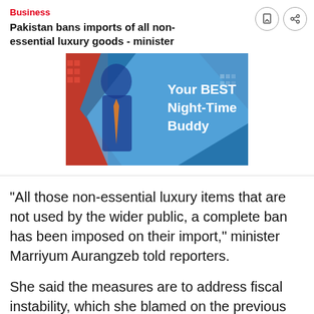Business
Pakistan bans imports of all non-essential luxury goods - minister
[Figure (illustration): Advertisement banner showing a man in a blue suit with text 'Your BEST Night-Time Buddy' on a blue geometric background]
"All those non-essential luxury items that are not used by the wider public, a complete ban has been imposed on their import," minister Marriyum Aurangzeb told reporters.
She said the measures are to address fiscal instability, which she blamed on the previous